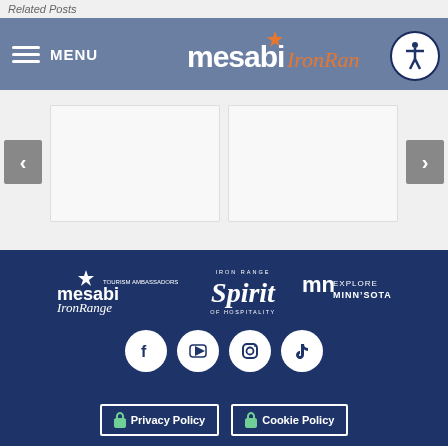Related Posts
[Figure (logo): Mesabi Iron Range navigation bar with hamburger menu, logo, and accessibility icon]
[Figure (screenshot): Image carousel/slider showing two card placeholders with left and right navigation arrows]
[Figure (logo): Footer with three logos: Mesabi Iron Range Tourism Ambassadors, Iron Range Spirit of Hospitality, Explore Minnesota]
[Figure (infographic): Social media icons: Facebook, YouTube, Instagram, TikTok]
Privacy Policy | Cookie Policy